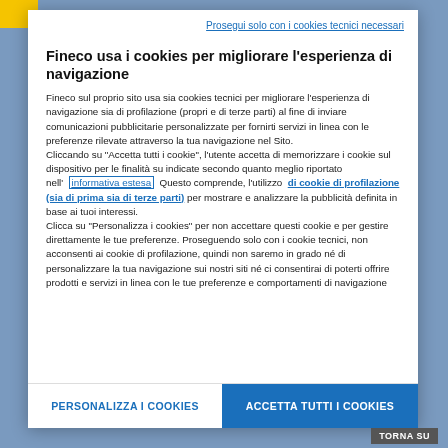Prosegui solo con i cookies tecnici necessari
Fineco usa i cookies per migliorare l'esperienza di navigazione
Fineco sul proprio sito usa sia cookies tecnici per migliorare l'esperienza di navigazione sia di profilazione (propri e di terze parti) al fine di inviare comunicazioni pubblicitarie personalizzate per fornirti servizi in linea con le preferenze rilevate attraverso la tua navigazione nel Sito. Cliccando su "Accetta tutti i cookie", l'utente accetta di memorizzare i cookie sul dispositivo per le finalità su indicate secondo quanto meglio riportato nell' informativa estesa  Questo comprende, l'utilizzo  di cookie di profilazione (sia di prima sia di terze parti) per mostrare e analizzare la pubblicità definita in base ai tuoi interessi. Clicca su "Personalizza i cookies" per non accettare questi cookie e per gestire direttamente le tue preferenze. Proseguendo solo con i cookie tecnici, non acconsenti ai cookie di profilazione, quindi non saremo in grado né di personalizzare la tua navigazione sui nostri siti né ci consentirai di poterti offrire prodotti e servizi in linea con le tue preferenze e comportamenti di navigazione
PERSONALIZZA I COOKIES
ACCETTA TUTTI I COOKIES